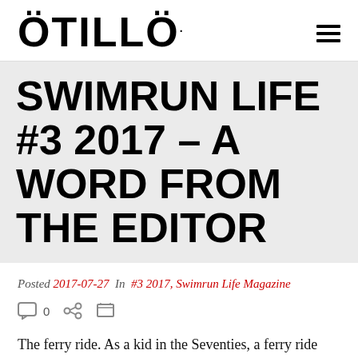ÖTILLÖ
SWIMRUN LIFE #3 2017 – A WORD FROM THE EDITOR
Posted 2017-07-27  In  #3 2017, Swimrun Life Magazine
0
The ferry ride. As a kid in the Seventies, a ferry ride